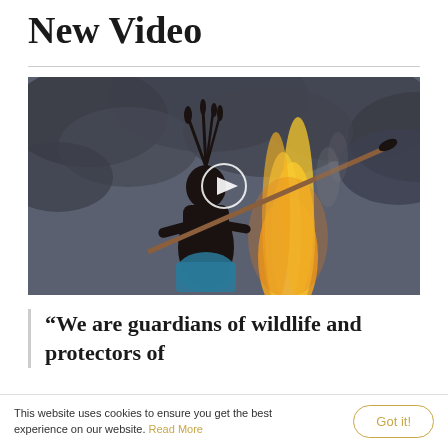New Video
[Figure (photo): A tribal warrior in traditional headdress holding a spear against a dramatic sky with flames and dark clouds. A white circular play button overlay is centered on the image.]
“We are guardians of wildlife and protectors of
This website uses cookies to ensure you get the best experience on our website. Read More